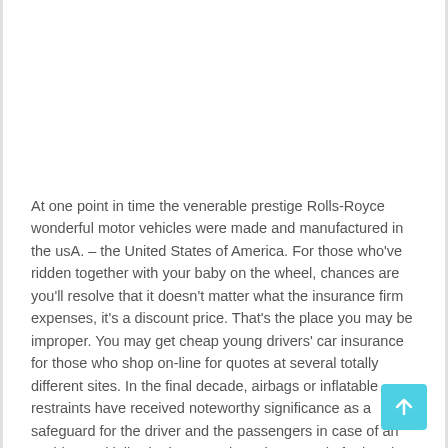At one point in time the venerable prestige Rolls-Royce wonderful motor vehicles were made and manufactured in the usA. – the United States of America. For those who've ridden together with your baby on the wheel, chances are you'll resolve that it doesn't matter what the insurance firm expenses, it's a discount price. That's the place you may be improper. You may get cheap young drivers' car insurance for those who shop on-line for quotes at several totally different sites. In the final decade, airbags or inflatable restraints have received noteworthy significance as a safeguard for the driver and the passengers in case of an accident. Initially, the baggage have been made for head-on collision, however now, there are a lot of different safety devices like facet affect luggage, knee bolsters, side curtain, and many others, available for safety in any sort of crash. As a result of frontal collisions are a major volvo blog reason of accidental deaths, airbags are being offered as a standard product in